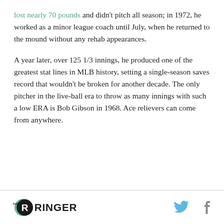lost nearly 70 pounds and didn't pitch all season; in 1972, he worked as a minor league coach until July, when he returned to the mound without any rehab appearances.
A year later, over 125 1/3 innings, he produced one of the greatest stat lines in MLB history, setting a single-season saves record that wouldn't be broken for another decade. The only pitcher in the live-ball era to throw as many innings with such a low ERA is Bob Gibson in 1968. Ace relievers can come from anywhere.
[Figure (logo): The Ringer logo — black circle with white R, green circle accent, 'THE RINGER' text in bold]
[Figure (logo): Twitter bird icon and Facebook f icon in light blue/gray]